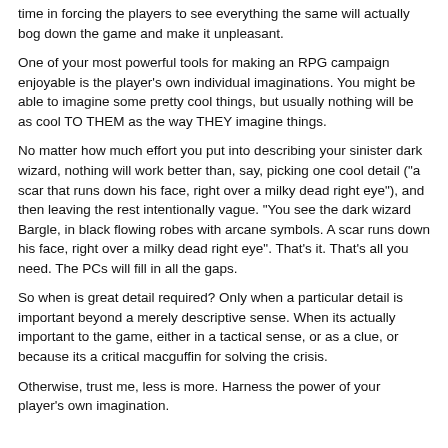time in forcing the players to see everything the same will actually bog down the game and make it unpleasant.
One of your most powerful tools for making an RPG campaign enjoyable is the player's own individual imaginations. You might be able to imagine some pretty cool things, but usually nothing will be as cool TO THEM as the way THEY imagine things.
No matter how much effort you put into describing your sinister dark wizard, nothing will work better than, say, picking one cool detail ("a scar that runs down his face, right over a milky dead right eye"), and then leaving the rest intentionally vague. "You see the dark wizard Bargle, in black flowing robes with arcane symbols. A scar runs down his face, right over a milky dead right eye". That's it. That's all you need. The PCs will fill in all the gaps.
So when is great detail required? Only when a particular detail is important beyond a merely descriptive sense. When its actually important to the game, either in a tactical sense, or as a clue, or because its a critical macguffin for solving the crisis.
Otherwise, trust me, less is more. Harness the power of your player's own imagination.